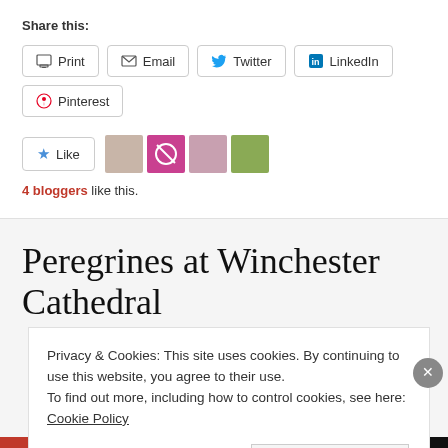Share this:
Print
Email
Twitter
LinkedIn
Pinterest
[Figure (other): Like button with star icon and 4 blogger avatars]
4 bloggers like this.
Peregrines at Winchester Cathedral
Privacy & Cookies: This site uses cookies. By continuing to use this website, you agree to their use.
To find out more, including how to control cookies, see here: Cookie Policy
Close and accept